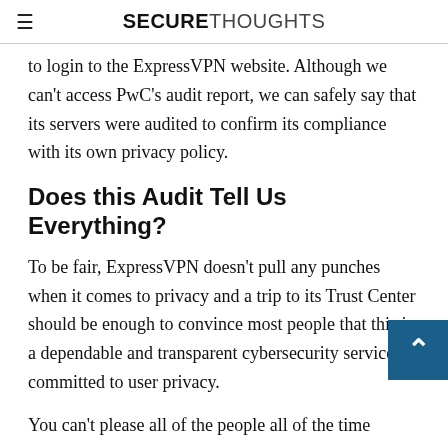SECURETHOUGHTS
to login to the ExpressVPN website. Although we can't access PwC's audit report, we can safely say that its servers were audited to confirm its compliance with its own privacy policy.
Does this Audit Tell Us Everything?
To be fair, ExpressVPN doesn't pull any punches when it comes to privacy and a trip to its Trust Center should be enough to convince most people that this is a dependable and transparent cybersecurity service committed to user privacy.
You can't please all of the people all of the time